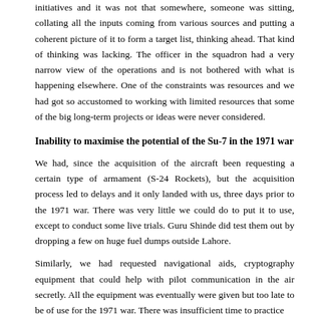initiatives and it was not that somewhere, someone was sitting, collating all the inputs coming from various sources and putting a coherent picture of it to form a target list, thinking ahead. That kind of thinking was lacking. The officer in the squadron had a very narrow view of the operations and is not bothered with what is happening elsewhere. One of the constraints was resources and we had got so accustomed to working with limited resources that some of the big long-term projects or ideas were never considered.
Inability to maximise the potential of the Su-7 in the 1971 war
We had, since the acquisition of the aircraft been requesting a certain type of armament (S-24 Rockets), but the acquisition process led to delays and it only landed with us, three days prior to the 1971 war. There was very little we could do to put it to use, except to conduct some live trials. Guru Shinde did test them out by dropping a few on huge fuel dumps outside Lahore.
Similarly, we had requested navigational aids, cryptography equipment that could help with pilot communication in the air secretly. All the equipment was eventually were given but too late to be of use for the 1971 war. There was insufficient time to practice